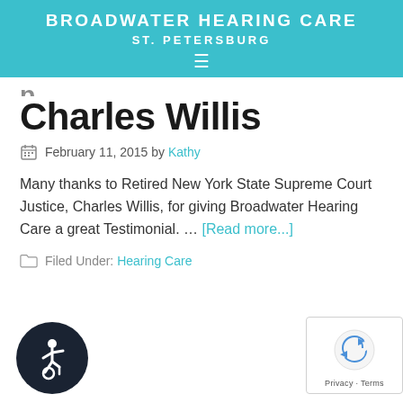BROADWATER HEARING CARE
ST. PETERSBURG
Charles Willis
February 11, 2015 by Kathy
Many thanks to Retired New York State Supreme Court Justice, Charles Willis, for giving Broadwater Hearing Care a great Testimonial. … [Read more...]
Filed Under: Hearing Care
[Figure (illustration): Accessibility wheelchair user icon — white figure on dark navy circle background]
[Figure (logo): reCAPTCHA badge with Google logo and Privacy · Terms text]